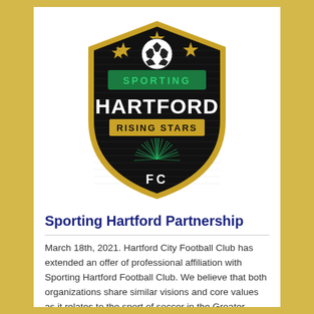[Figure (logo): Sporting Hartford Rising Stars FC shield logo with soccer ball, gold border, black background, green 'SPORTING' text, white 'HARTFORD' text, gold 'RISING STARS' text, white 'FC' text, and green starburst graphic]
Sporting Hartford Partnership
March 18th, 2021. Hartford City Football Club has extended an offer of professional affiliation with Sporting Hartford Football Club. We believe that both organizations share similar visions and core values as it relates to the sport of soccer in the Greater Hartford community. Each club has